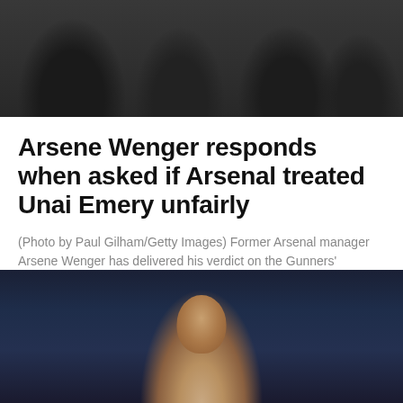[Figure (photo): Top photo showing people in dark clothing, appearing to be football/soccer managers or coaches on a sideline]
Arsene Wenger responds when asked if Arsenal treated Unai Emery unfairly
(Photo by Paul Gilham/Getty Images) Former Arsenal manager Arsene Wenger has delivered his verdict on the Gunners' treatment of Unai Emery when he was at the helm in North London....
3 months ago   Shamanth Jayaram
[Figure (photo): Bottom photo showing a footballer celebrating or shouting with mouth open, against a blurred blue/dark background]